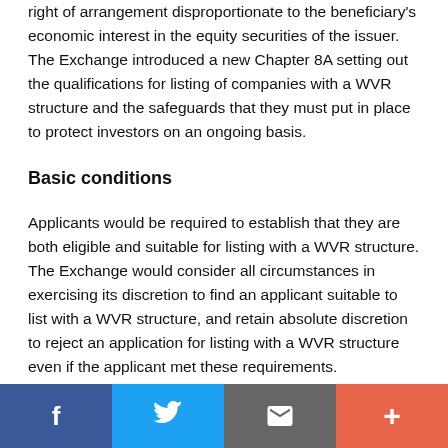right of arrangement disproportionate to the beneficiary's economic interest in the equity securities of the issuer. The Exchange introduced a new Chapter 8A setting out the qualifications for listing of companies with a WVR structure and the safeguards that they must put in place to protect investors on an ongoing basis.
Basic conditions
Applicants would be required to establish that they are both eligible and suitable for listing with a WVR structure. The Exchange would consider all circumstances in exercising its discretion to find an applicant suitable to list with a WVR structure, and retain absolute discretion to reject an application for listing with a WVR structure even if the applicant met these requirements.